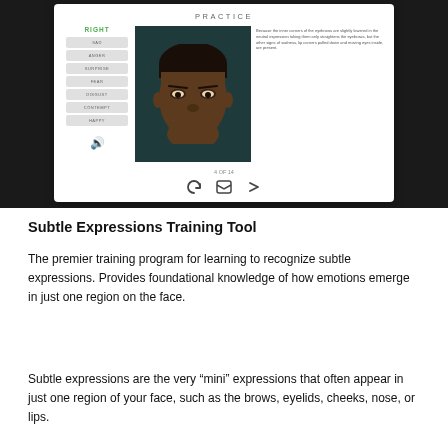[Figure (screenshot): Screenshot of Subtle Expressions Training Tool practice interface showing a face photo of a young man with a sad/contempt expression, emotion selection buttons on the left (SAD, ANGER, SURPRISE, FEAR, DISGUST, CONTEMPT, HAPPY), text panel on the right, counter '4 OF 14', and navigation icons at the bottom.]
Subtle Expressions Training Tool
The premier training program for learning to recognize subtle expressions. Provides foundational knowledge of how emotions emerge in just one region on the face.
Subtle expressions are the very “mini” expressions that often appear in just one region of your face, such as the brows, eyelids, cheeks, nose, or lips.